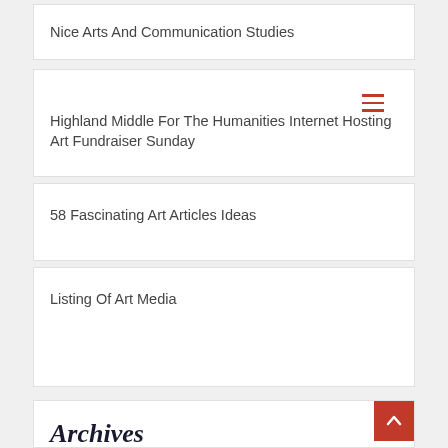Nice Arts And Communication Studies
Highland Middle For The Humanities Internet Hosting Art Fundraiser Sunday
58 Fascinating Art Articles Ideas
Listing Of Art Media
Archives